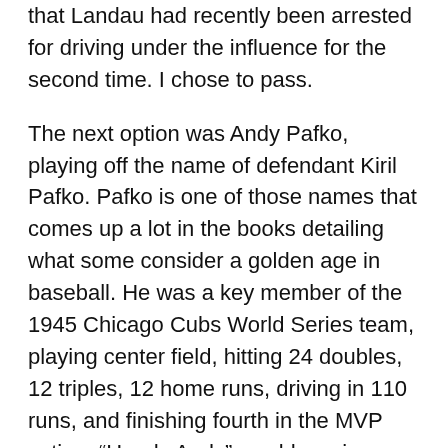that Landau had recently been arrested for driving under the influence for the second time. I chose to pass.
The next option was Andy Pafko, playing off the name of defendant Kiril Pafko. Pafko is one of those names that comes up a lot in the books detailing what some consider a golden age in baseball. He was a key member of the 1945 Chicago Cubs World Series team, playing center field, hitting 24 doubles, 12 triples, 12 home runs, driving in 110 runs, and finishing fourth in the MVP voting. “Handy Andy” would say in 1984, the next time the Cubs finished in first place in their division, “I never dreamed it would take them 39 years to win again. I thought they would have won by accident before then!” In 1951, Pafko was traded to the Brooklyn Dodgers and was the left fielder over whose head Bobby Thomson’s “Shot Heard ‘Round The World” traveled. Pafko was a